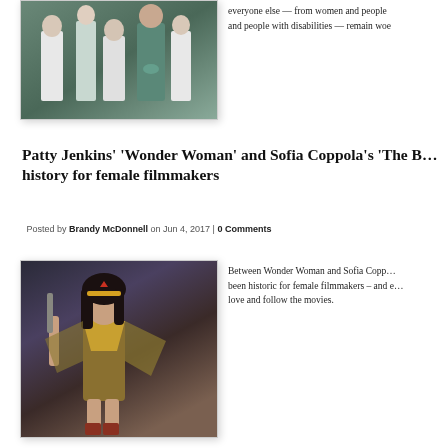[Figure (photo): People standing, one person in a teal dress surrounded by others in white shirts]
everyone else — from women and people and people with disabilities — remain woe
Patty Jenkins' 'Wonder Woman' and Sofia Coppola's 'The B… history for female filmmakers
Posted by Brandy McDonnell on Jun 4, 2017 | 0 Comments
[Figure (photo): Wonder Woman character in costume with sword and wings]
Between Wonder Woman and Sofia Copp… been historic for female filmmakers – and e… love and follow the movies.